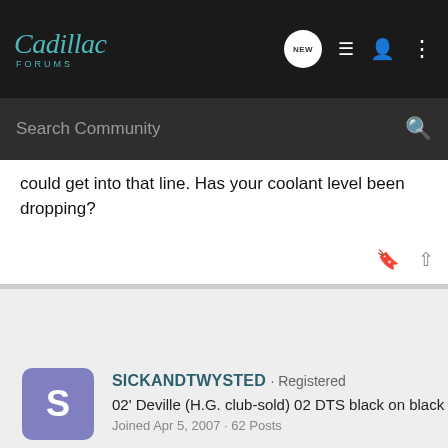Cadillac Forums
could get into that line. Has your coolant level been dropping?
SICKANDTWYSTED · Registered
02' Deville (H.G. club-sold) 02 DTS black on black
Joined Apr 5, 2007 · 62 Posts